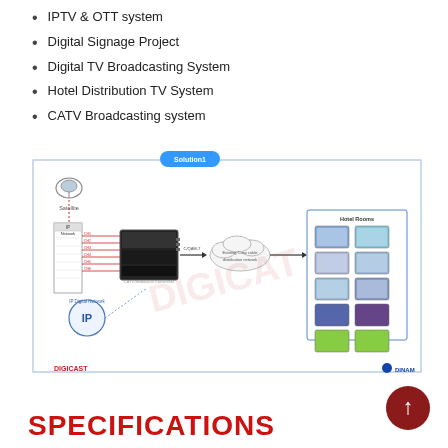IPTV & OTT system
Digital Signage Project
Digital TV Broadcasting System
Hotel Distribution TV System
CATV Broadcasting system
[Figure (network-graph): Solution1 diagram showing a satellite dish connected to an IP network rack, feeding into a CATV modulator/encoder device, then through existing coax cable distribution network cloud to Hotel Rooms displaying multiple TV screens. An IP Digital Network node (IP) also feeds into the system. DIGICAST and DINAM branding shown at bottom. Watermark text DIGICAT across center.]
SPECIFICATIONS